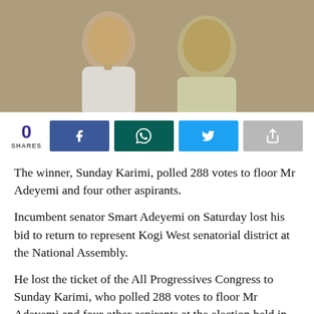[Figure (photo): Two men in traditional Nigerian attire, one holding a microphone, photographed together at an outdoor event.]
0
SHARES
The winner, Sunday Karimi, polled 288 votes to floor Mr Adeyemi and four other aspirants.
Incumbent senator Smart Adeyemi on Saturday lost his bid to return to represent Kogi West senatorial district at the National Assembly.
He lost the ticket of the All Progressives Congress to Sunday Karimi, who polled 288 votes to floor Mr Adeyemi and four other aspirants at the election held in Kabba.
Mr Adeyemi got 43 votes while Muri Aina got 73